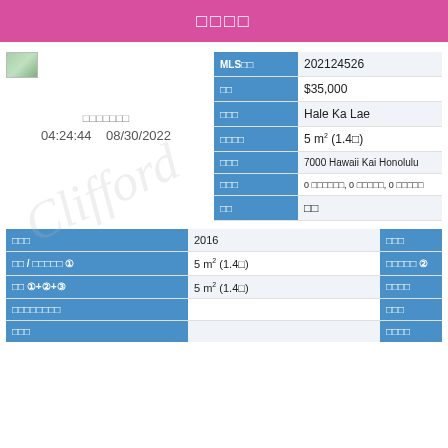□□□□
[Figure (photo): Small property thumbnail image]
□□□□□□□
04:24:44   08/30/2022
| Label | Value |
| --- | --- |
| MLS□□ | 202124526 |
| □□ | $35,000 |
| □□□ | Hale Ka Lae |
| □□□□ | 5 m² (1.4□) |
| □□□ | 7000 Hawaii Kai Honolulu |
| □□□ | 0 □□□□□□, 0 □□□□□, 0 □□□□□ |
| □□ | □□ |
| Label | Value | Label2 |
| --- | --- | --- |
| □□□ | 2016 | □□□ |
| □□ / □□□□□ ① | 5 m² (1.4□) | □□□□□ ② |
| □□ ①+②+③ | 5 m² (1.4□) | □□□□ |
| □□□□□□□□ |  | □□□ |
| □□□ |  | □□□□ |